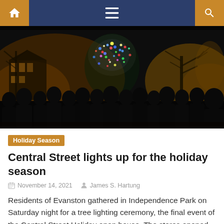Navigation bar with home, menu, and search icons
[Figure (photo): Night crowd silhouetted against a brightly lit Christmas tree decorated with multicolored lights in Independence Park, Evanston. Buildings and bare trees visible in the background with warm orange lighting.]
Holiday Season
Central Street lights up for the holiday season
November 14, 2021    James S. Hartung
Residents of Evanston gathered in Independence Park on Saturday night for a tree lighting ceremony, the final event of the Central Street Holiday open house. The stores opened at 10 a.m. on November 13 for holiday shopping and the afternoon consisted of visits from Santa Claus, Frozen Robins Carolers, elves and a toy soldier. The [...]